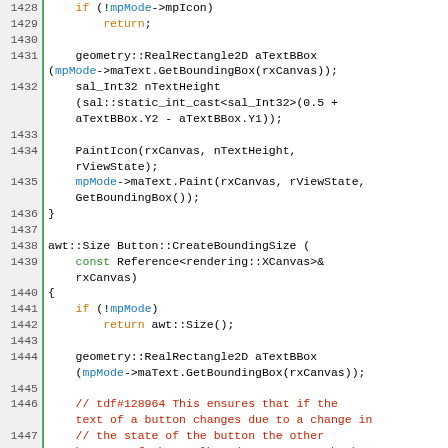[Figure (screenshot): Source code listing in C++ showing lines 1428-1449+, syntax highlighted with orange keywords, blue identifiers, green keywords, and red comments. Line numbers shown on left with green bar separator.]